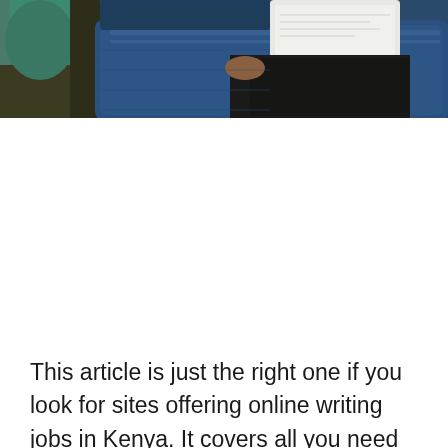[Figure (photo): A person sitting with a laptop or notebook on a blue seat, partially visible. The scene appears to show someone working or studying. The upper portion of the image is visible, showing teal/green clothing and a blue seat or surface, with what appears to be a white laptop or paper on a surface.]
This article is just the right one if you look for sites offering online writing jobs in Kenya. It covers all you need to know